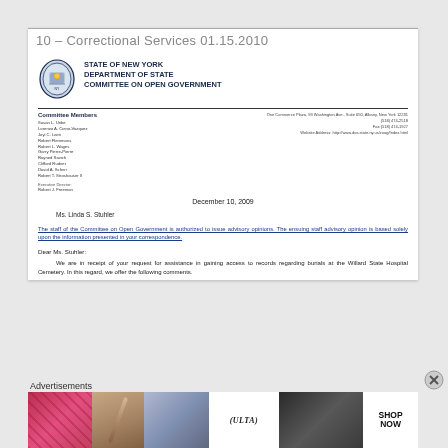10 – Correctional Services 01.15.2010
[Figure (logo): New York State seal / coat of arms logo]
STATE OF NEW YORK
DEPARTMENT OF STATE
COMMITTEE ON OPEN GOVERNMENT
Committee Members
Susan L. Uribe
Lorenzo A. Cieno-Vazquez
Joyi C. Laim
Robert Flemmons
Robert L. Wages
Garry Pierre-Pierre
Rayned Savich
Clifford Rudner
David A. Schnri
Robert T. Stroshouser II
Executive Director:
Robert J. Freeman
One Commerce Plaza, 99 Washington Ave., Suite 650, Albany, New York 12231
(518) 474-2518
Fax:(518) 474-1927
Website Address: http://www.dos.state.ny.us/coog/Index.html
December 10, 2009
Ms. Linda S. Stuhler
The staff of the Committee on Open Government is authorized to issue advisory opinions. The ensuing staff advisory opinion is based solely upon the information presented in your correspondence.
Dear Ms. Stuhler:
We are in receipt of your request for assistance in gaining access to records regarding burials at the Willard State Hospital Cemetery. In this regard, we offer the following comments.
Advertisements
[Figure (photo): Advertisements banner showing beauty/makeup images and ULTA Beauty logo with SHOP NOW text]